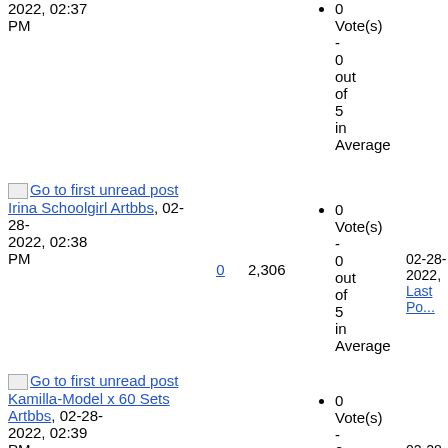2022, 02:37 PM
0 Vote(s) - 0 out of 5 in Average
Go to first unread post Irina Schoolgirl Artbbs, 02-28-2022, 02:38 PM | 0 | 2,306
0 Vote(s) - 0 out of 5 in Average
02-28-2022, Last Po...
Go to first unread post Kamilla-Model x 60 Sets Artbbs, 02-28-2022, 02:39 PM | 0 | 2,138
0 Vote(s) - 0 out of 5 in Average
02-28-2022, Last Po...